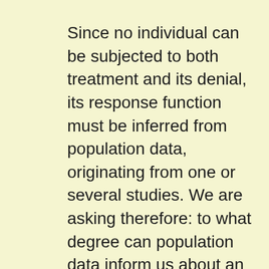Since no individual can be subjected to both treatment and its denial, its response function must be inferred from population data, originating from one or several studies. We are asking therefore: to what degree can population data inform us about an individual response?

Before tackling this